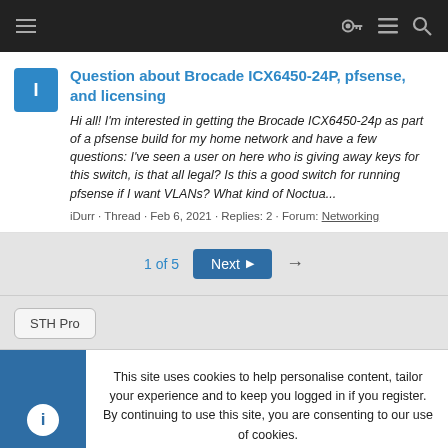Navigation bar with hamburger menu and icons
Question about Brocade ICX6450-24P, pfsense, and licensing
Hi all! I'm interested in getting the Brocade ICX6450-24p as part of a pfsense build for my home network and have a few questions: I've seen a user on here who is giving away keys for this switch, is that all legal? Is this a good switch for running pfsense if I want VLANs? What kind of Noctua...
iDurr · Thread · Feb 6, 2021 · Replies: 2 · Forum: Networking
1 of 5  Next  →
STH Pro
This site uses cookies to help personalise content, tailor your experience and to keep you logged in if you register.
By continuing to use this site, you are consenting to our use of cookies.
Accept   Learn more...